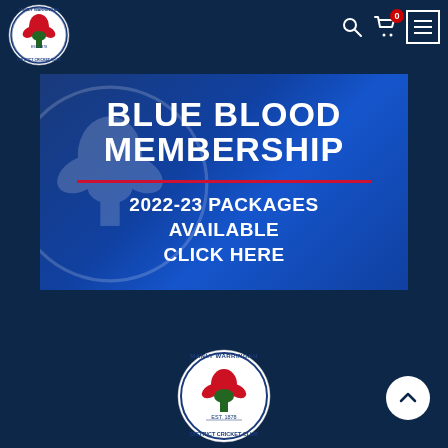Manly Warringah District Cricket Club — Navigation header with logo, search, cart (0), and menu icons
[Figure (infographic): Blue Blood Membership promotional banner with dark blue gradient background. Large white bold text reading 'BLUE BLOOD MEMBERSHIP', a red horizontal divider line, and white text below reading '2022-23 PACKAGES AVAILABLE CLICK HERE'. Faint cricket club logo watermark in background.]
[Figure (logo): Manly Warringah District Cricket Club circular logo — red waratah flower on green tree, text 'MANLY WARRINGAH' at top and 'DISTRICT CRICKET CLUB' at bottom, 'EST. 1878' in center]